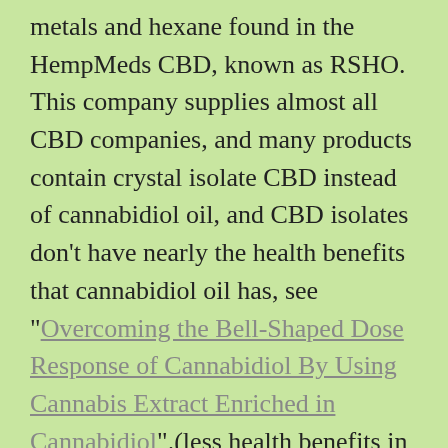metals and hexane found in the HempMeds CBD, known as RSHO.  This company supplies almost all CBD companies, and many products contain crystal isolate CBD instead of cannabidiol oil, and CBD isolates don't have nearly the health benefits that cannabidiol oil has, see "Overcoming the Bell-Shaped Dose Response of Cannabidiol By Using Cannabis Extract Enriched in Cannabidiol".(less health benefits in isolates).  Hexane causes nerve damage and is very toxic, even with short-term exposure (MSDS link).  RSHO is used in many of the CBD products found everywhere on the internet, including PlusCBD, Cibdex, Cibaderm, Kannaway, and Dixie Elixirs, all are under the umbrella of Medical Marijuana, Inc.  CV Sciences is now bragging that they're working with pharma on synthetic CBD, their products